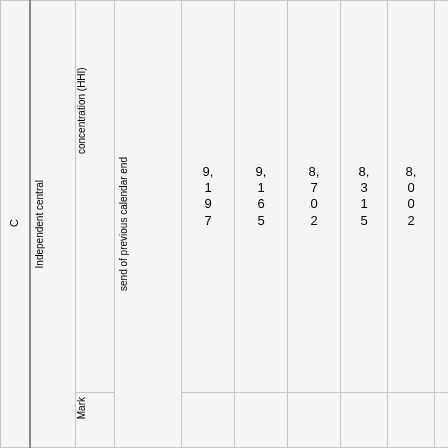| C | Independent central | concentration (HHI) | send of previous calendar end | 9,197 | 9,165 | 8,702 | 8,315 | 8,002 | 7,363 |
| --- | --- | --- | --- | --- | --- | --- | --- | --- | --- |
| C | Independent central | concentration (HHI) | send of previous calendar end | 9,197 | 9,165 | 8,702 | 8,315 | 8,002 | 7,363 |
|  | Mark |  |  |  |  |  |  |  |  |